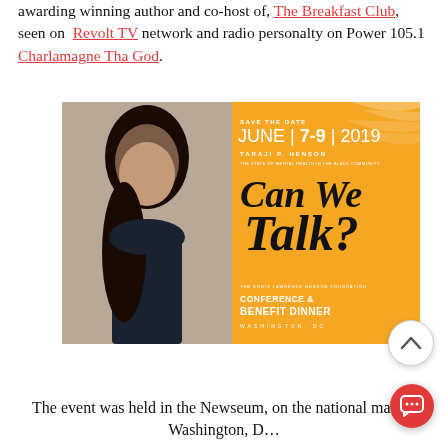awarding winning author and co-host of, The Breakfast Club, seen on Revolt TV network and radio personalty on Power 105.1 Charlamagne Tha God.
[Figure (photo): Event promotional image for 'Can We Talk?' conference featuring Taraji P. Henson. Save the Date: June 7-9, 2019. The Boris Lawrence Henson Foundation Conference & Benefit Dinner, Washington DC. Orange background with woman's portrait photo.]
The event was held in the Newseum, on the national mall in Washington, D...